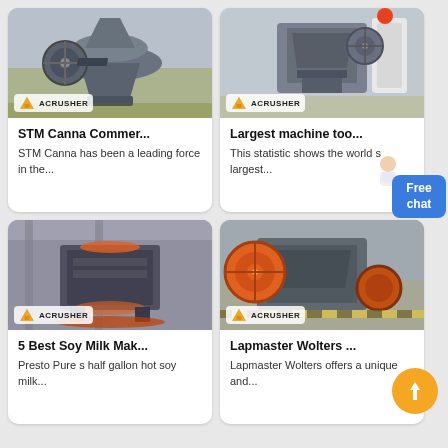[Figure (photo): Industrial cone crusher machine in factory with Acrusher watermark logo]
STM Canna Commer...
STM Canna has been a leading force in the...
[Figure (photo): Industrial jaw crusher machine in factory with Acrusher watermark logo]
Largest machine too...
This statistic shows the world s largest...
[Figure (photo): Sand making machine / VSI crusher in factory with Acrusher watermark logo]
5 Best Soy Milk Mak...
Presto Pure s half gallon hot soy milk...
[Figure (photo): Jaw crusher machine in factory with orange flywheel and Acrusher logo, with scroll-up button]
Lapmaster Wolters ...
Lapmaster Wolters offers a unique and...